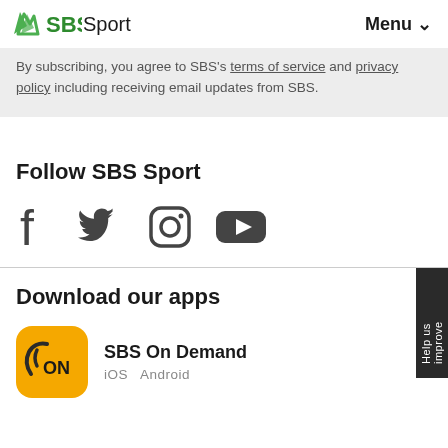SBS Sport  Menu
By subscribing, you agree to SBS's terms of service and privacy policy including receiving email updates from SBS.
Follow SBS Sport
[Figure (illustration): Social media icons: Facebook, Twitter, Instagram, YouTube]
Download our apps
[Figure (logo): SBS On Demand app icon - yellow/orange rounded square with bird and ON text]
SBS On Demand
iOS  Android